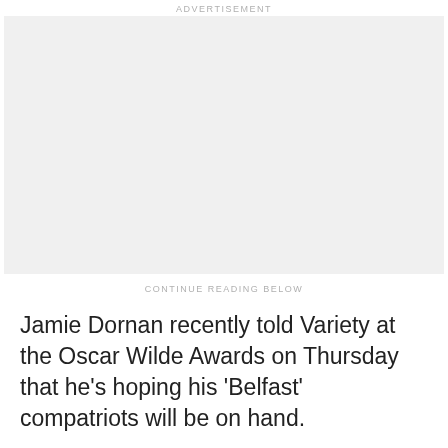ADVERTISEMENT
[Figure (other): Advertisement placeholder block with light gray background]
CONTINUE READING BELOW
Jamie Dornan recently told Variety at the Oscar Wilde Awards on Thursday that he's hoping his ‘Belfast’ compatriots will be on hand.